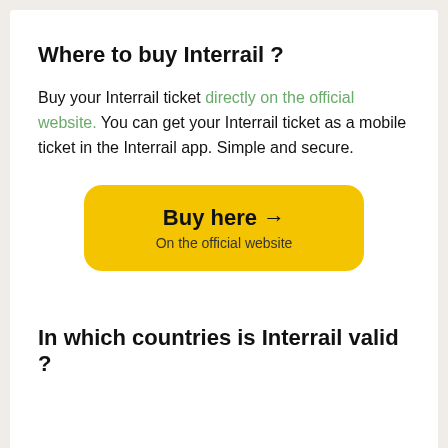Where to buy Interrail ?
Buy your Interrail ticket directly on the official website. You can get your Interrail ticket as a mobile ticket in the Interrail app. Simple and secure.
[Figure (other): Yellow rounded button with text 'Buy here →' and subtitle 'On the official website']
In which countries is Interrail valid ?